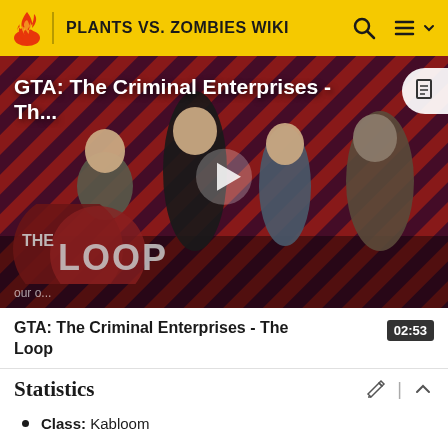PLANTS VS. ZOMBIES WIKI
[Figure (screenshot): Video thumbnail for GTA: The Criminal Enterprises - The Loop, showing characters on a red diagonal-striped background with a play button in the center and The Loop logo in the bottom left.]
GTA: The Criminal Enterprises - The Loop
02:53
Statistics
Class: Kabloom
Tribe: Pinecone Plant